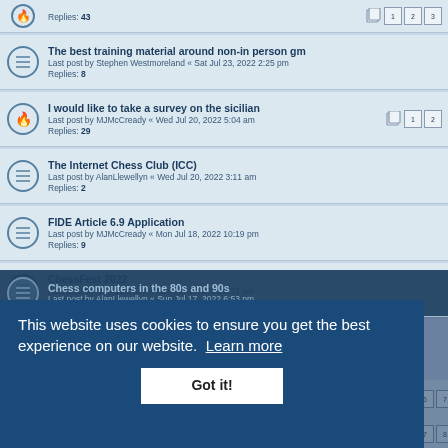Replies: 43
The best training material around non-in person gm
Last post by Stephen Westmoreland « Sat Jul 23, 2022 2:25 pm
Replies: 8
I would like to take a survey on the sicilian
Last post by MJMcCready « Wed Jul 20, 2022 5:04 am
Replies: 29
The Internet Chess Club (ICC)
Last post by AlanLlewellyn « Wed Jul 20, 2022 3:11 am
Replies: 2
FIDE Article 6.9 Application
Last post by MJMcCready « Mon Jul 18, 2022 10:19 pm
Replies: 9
ChessFest 2022
Last post by MJMcCready « Mon Jul 18, 2022 8:31 pm
Replies: 10
Chess computers in the 80s and 90s
Last post by AlanLlewellyn « Sun Jul 17, 2022 6:53 pm
Last post by JustinHorton « Sun Jul 17, 2022 2:46 pm
Replies: 103
Next English GM
Last post by Nick Burrows « Sun Jul 17, 2022 2:10 pm
Replies: 112
This website uses cookies to ensure you get the best experience on our website. Learn more
Got it!